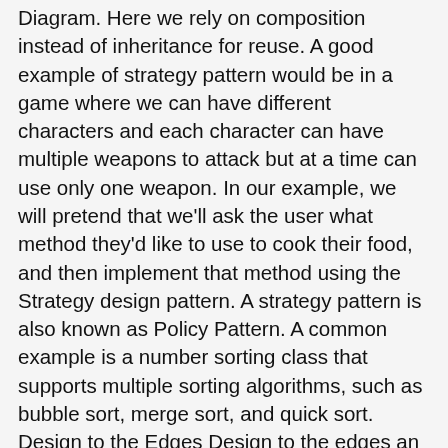Diagram. Here we rely on composition instead of inheritance for reuse. A good example of strategy pattern would be in a game where we can have different characters and each character can have multiple weapons to attack but at a time can use only one weapon. In our example, we will pretend that we'll ask the user what method they'd like to use to cook their food, and then implement that method using the Strategy design pattern. A strategy pattern is also known as Policy Pattern. A common example is a number sorting class that supports multiple sorting algorithms, such as bubble sort, merge sort, and quick sort. Design to the Edges Design to the edges an approach that attempts to make a design … The basic premise is the calling code has a single point of entry determined by user input or system specification. In strategy pattern we decouple the behavior but in Bridge we decouple the abstraction. In Strategy pattern, we create objects which represent various strategies and a context object whose behavior varies as per its strategy object. In this article, we'll look at how we can implement the strategy design pattern in Java 8. Intent of Strategy Design